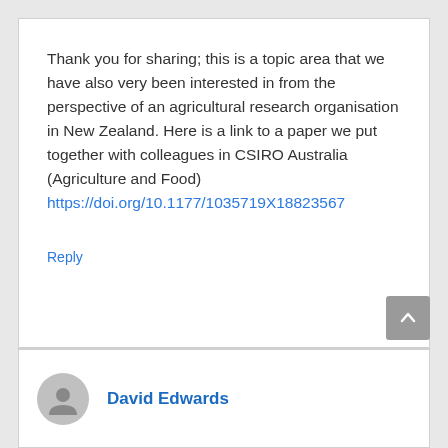Thank you for sharing; this is a topic area that we have also very been interested in from the perspective of an agricultural research organisation in New Zealand. Here is a link to a paper we put together with colleagues in CSIRO Australia (Agriculture and Food) https://doi.org/10.1177/1035719X18823567
Reply
David Edwards